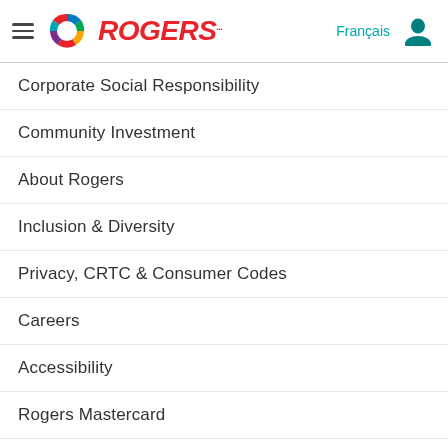Rogers
Corporate Social Responsibility
Community Investment
About Rogers
Inclusion & Diversity
Privacy, CRTC & Consumer Codes
Careers
Accessibility
Rogers Mastercard
Security
Terms & Conditions
Site Map
Media Contact